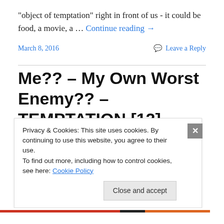“object of temptation” right in front of us - it could be food, a movie, a … Continue reading →
March 8, 2016    💬 Leave a Reply
Me?? – My Own Worst Enemy?? – TEMPTATION [12]
In my last post, Does God Tempt People??  - TEMPTATION [11], http://wp.me/p5nZpi-Aa, I identified
Satan as unlikely suspect #1 in answer to the question
Privacy & Cookies: This site uses cookies. By continuing to use this website, you agree to their use.
To find out more, including how to control cookies, see here: Cookie Policy
Close and accept